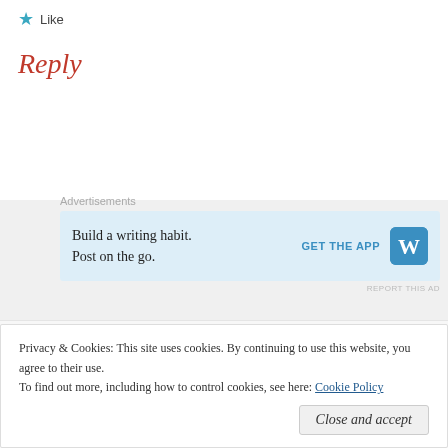★ Like
Reply
Advertisements
[Figure (other): WordPress app advertisement banner: 'Build a writing habit. Post on the go.' with GET THE APP button and WordPress logo]
REPORT THIS AD
aeiwrites   July 7, 2020 at 3:50 pm
Privacy & Cookies: This site uses cookies. By continuing to use this website, you agree to their use.
To find out more, including how to control cookies, see here: Cookie Policy
Close and accept